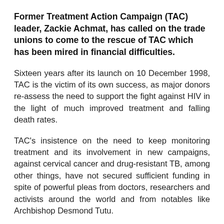Former Treatment Action Campaign (TAC) leader, Zackie Achmat, has called on the trade unions to come to the rescue of TAC which has been mired in financial difficulties.
Sixteen years after its launch on 10 December 1998, TAC is the victim of its own success, as major donors re-assess the need to support the fight against HIV in the light of much improved treatment and falling death rates.
TAC's insistence on the need to keep monitoring treatment and its involvement in new campaigns, against cervical cancer and drug-resistant TB, among other things, have not secured sufficient funding in spite of powerful pleas from doctors, researchers and activists around the world and from notables like Archbishop Desmond Tutu.
But TAC's financial problems could be solved in a